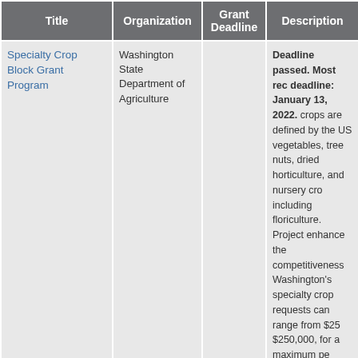| Title | Organization | Grant Deadline | Description |
| --- | --- | --- | --- |
| Specialty Crop Block Grant Program | Washington State Department of Agriculture |  | Deadline passed. Most rec deadline: January 13, 2022. crops are defined by the US vegetables, tree nuts, dried horticulture, and nursery cro including floriculture. Project enhance the competitiveness Washington's specialty crop requests can range from $25 $250,000, for a maximum pe three years. Learn more and here. |
| USDA Seeks Applications for Grants to Help Socially-Disadvantaged Producers | USDA |  | Funding will be made availa USDA's Socially-Disadvanta Grant Program (formerly the Socially-Disadvantaged Pro Program), which assists org that provide technical assista socially-disadvantaged grou areas. Examples of technica are conducting feasibility stu developing business and str... |